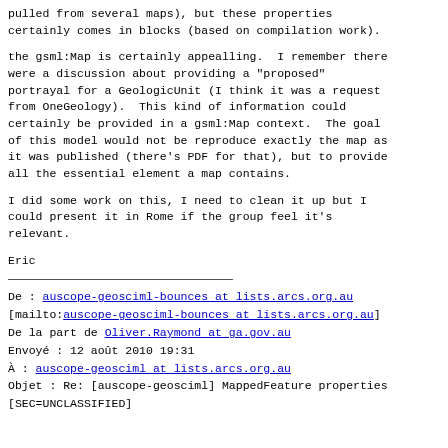maybe not in a service context (where nomenclature are pulled from several maps), but these properties certainly comes in blocks (based on compilation work).
the gsml:Map is certainly appealling.  I remember there were a discussion about providing a "proposed" portrayal for a GeologicUnit (I think it was a request from OneGeology).  This kind of information could certainly be provided in a gsml:Map context.  The goal of this model would not be reproduce exactly the map as it was published (there's PDF for that), but to provide all the essential element a map contains.
I did some work on this, I need to clean it up but I could present it in Rome if the group feel it's relevant.
Eric
De : auscope-geosciml-bounces at lists.arcs.org.au [mailto:auscope-geosciml-bounces at lists.arcs.org.au] De la part de Oliver.Raymond at ga.gov.au Envoyé : 12 août 2010 19:31 À : auscope-geosciml at lists.arcs.org.au Objet : Re: [auscope-geosciml] MappedFeature properties [SEC=UNCLASSIFIED]